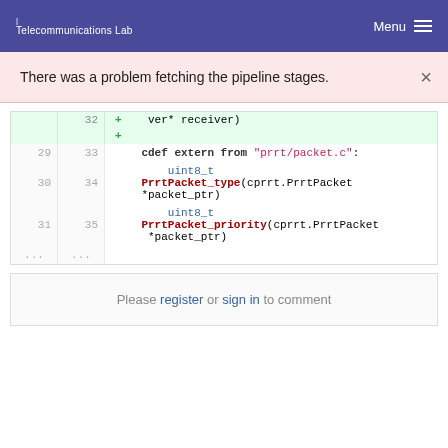Telecommunications Lab  Menu
There was a problem fetching the pipeline stages.
[Figure (screenshot): Code diff view showing Cython extern declarations. Lines 29-35 visible with additions. Code includes cdef extern from 'prrt/packet.c': uint8_t PrrtPacket_type(cprrt.PrrtPacket *packet_ptr) and uint8_t PrrtPacket_priority(cprrt.PrrtPacket *packet_ptr)]
Please register or sign in to comment